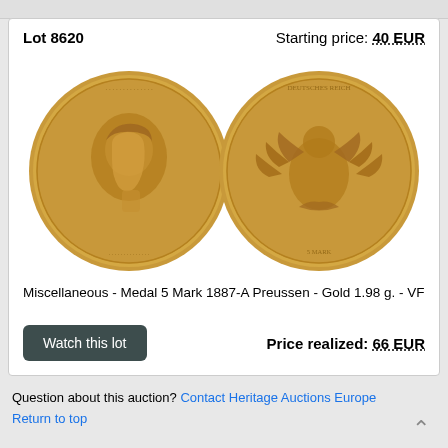Lot 8620
Starting price: 40 EUR
[Figure (photo): Two gold coins shown side by side: obverse showing a portrait profile (Medal 5 Mark 1887-A Preussen) and reverse showing the German imperial eagle.]
Miscellaneous - Medal 5 Mark 1887-A Preussen - Gold 1.98 g. - VF
Watch this lot
Price realized: 66 EUR
Question about this auction? Contact Heritage Auctions Europe
Return to top